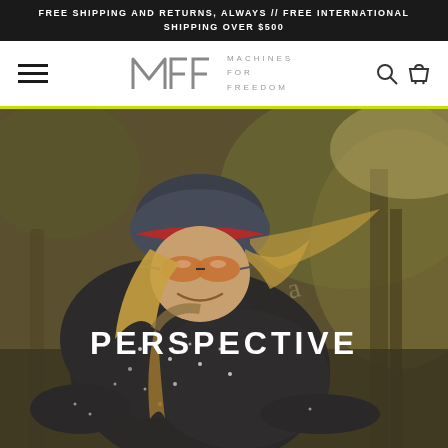FREE SHIPPING AND RETURNS, ALWAYS // FREE INTERNATIONAL SHIPPING OVER $500
[Figure (logo): Machines For Freedom logo with hamburger menu, MFF wordmark, search and cart icons]
[Figure (photo): Female cyclist wearing a helmet, sunglasses, and dark cycling jersey leaning forward on a bike, outdoors with trees in background. Text overlay reads PERSPECTIVE.]